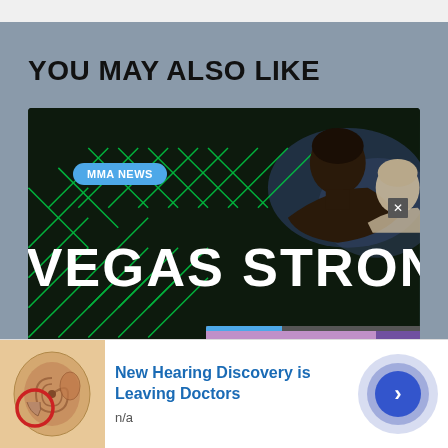YOU MAY ALSO LIKE
[Figure (photo): MMA fighter Kamaru Usman at octagon with Vegas Strong banner visible on fence, with overlaid video popup showing a smiling man with headphones in a purple-lit room, and MyMMANews branding]
KAMARU USMA...
[Figure (photo): Advertisement banner showing ear anatomy illustration with red circle highlight]
New Hearing Discovery is Leaving Doctors
n/a